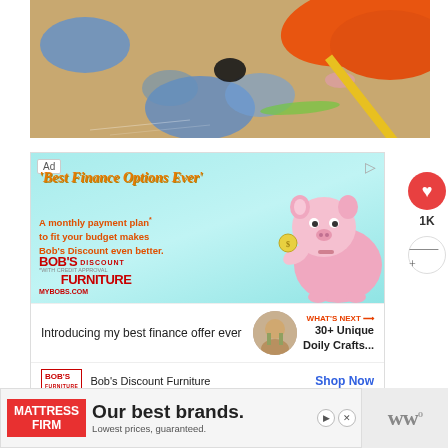[Figure (photo): Arts and crafts photo showing a cardboard surface with paint splatters in blue colors, an orange paper cutout shape, and a yellow pencil/stick]
[Figure (infographic): Advertisement for Bob's Discount Furniture featuring 'Best Finance Options Ever' headline in orange italic font on teal background with animated character holding piggy bank. Text: 'A monthly payment plan to fit your budget makes Bob's Discount even better.' Brand name BOB'S DISCOUNT FURNITURE, mybobs.com]
Introducing my best finance offer ever
WHAT'S NEXT → 30+ Unique Doily Crafts...
Bob's Discount Furniture
Shop Now
[Figure (infographic): Mattress Firm advertisement banner: 'Our best brands. Lowest prices, guaranteed.' with red Mattress Firm logo on left]